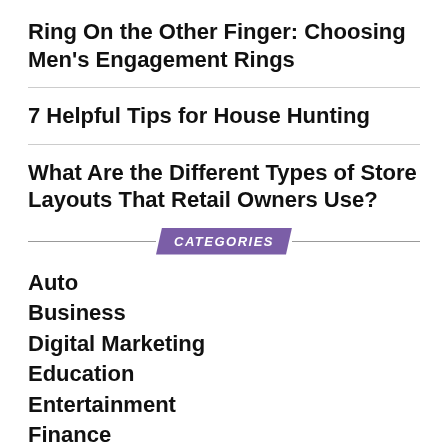Ring On the Other Finger: Choosing Men's Engagement Rings
7 Helpful Tips for House Hunting
What Are the Different Types of Store Layouts That Retail Owners Use?
CATEGORIES
Auto
Business
Digital Marketing
Education
Entertainment
Finance